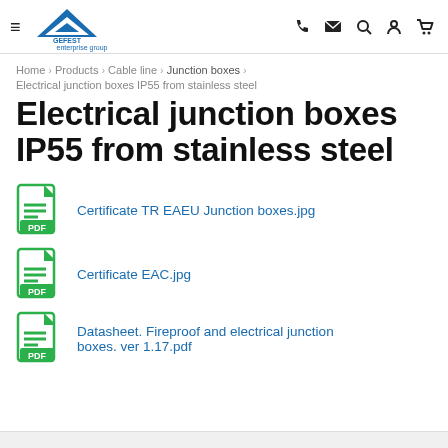GEFEST enterprise group — navigation header with hamburger menu, logo, and icons (phone, email, search, account, cart)
Home > Products > Cable line > Junction boxes >
Electrical junction boxes IP55 from stainless steel
Electrical junction boxes IP55 from stainless steel
Certificate TR EAEU Junction boxes.jpg
Certificate EAC.jpg
Datasheet. Fireproof and electrical junction boxes. ver 1.17.pdf